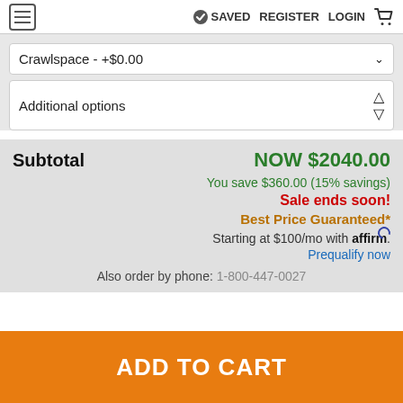SAVED REGISTER LOGIN
Crawlspace - +$0.00
Additional options
Subtotal   NOW $2040.00
You save $360.00 (15% savings)
Sale ends soon!
Best Price Guaranteed*
Starting at $100/mo with affirm. Prequalify now
Also order by phone: 1-800-447-0027
ADD TO CART